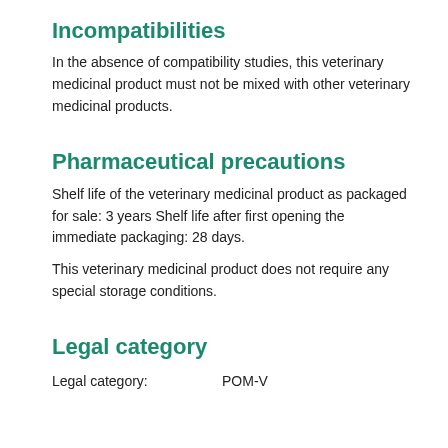Incompatibilities
In the absence of compatibility studies, this veterinary medicinal product must not be mixed with other veterinary medicinal products.
Pharmaceutical precautions
Shelf life of the veterinary medicinal product as packaged for sale: 3 years Shelf life after first opening the immediate packaging: 28 days.
This veterinary medicinal product does not require any special storage conditions.
Legal category
Legal category:    POM-V